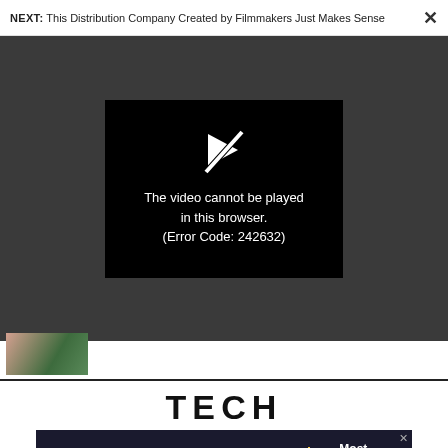NEXT: This Distribution Company Created by Filmmakers Just Makes Sense ×
[Figure (screenshot): Video player showing an error: black box with a crossed-out play icon and the message 'The video cannot be played in this browser. (Error Code: 242632)'. Background is dark gray.]
[Figure (photo): Thumbnail image showing green and pink objects (appears to be accessories/fashion items)]
TECH
[Figure (infographic): Advertisement banner: dark background, text 'CALL FOR ENTRIES', subtext 'EARLY RATE ENDS AUGUST 19', lightbulb icon, 'Most Innovative Companies']